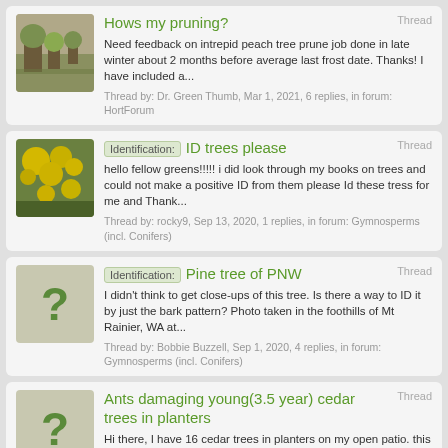Thread: Hows my pruning? — Need feedback on intrepid peach tree prune job done in late winter about 2 months before average last frost date. Thanks! I have included a... — Thread by: Dr. Green Thumb, Mar 1, 2021, 6 replies, in forum: HortForum
Thread: Identification: ID trees please — hello fellow greens!!!!! i did look through my books on trees and could not make a positive ID from them please Id these tress for me and Thank... — Thread by: rocky9, Sep 13, 2020, 1 replies, in forum: Gymnosperms (incl. Conifers)
Thread: Identification: Pine tree of PNW — I didn't think to get close-ups of this tree. Is there a way to ID it by just the bark pattern? Photo taken in the foothills of Mt Rainier, WA at... — Thread by: Bobbie Buzzell, Sep 1, 2020, 4 replies, in forum: Gymnosperms (incl. Conifers)
Thread: Ants damaging young(3.5 year) cedar trees in planters — Hi there, I have 16 cedar trees in planters on my open patio. this is the 4th year I am having them, and they have been doing good in general.... — Thread by: Sarah_sa, Aug 9, 2020, 20 replies, in forum: Gymnosperms (incl. Conifers)